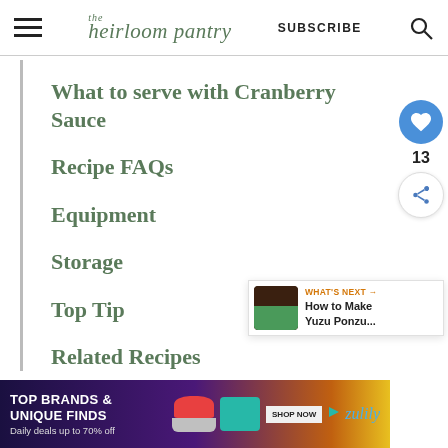the heirloom pantry | SUBSCRIBE
What to serve with Cranberry Sauce
Recipe FAQs
Equipment
Storage
Top Tip
Related Recipes
[Figure (screenshot): What's Next widget showing 'How to Make Yuzu Ponzu...' with a thumbnail of a dark cup and green garnish]
[Figure (screenshot): Advertisement banner: TOP BRANDS & UNIQUE FINDS, Daily deals up to 70% off, zulily, with shoe and bag images and SHOP NOW button]